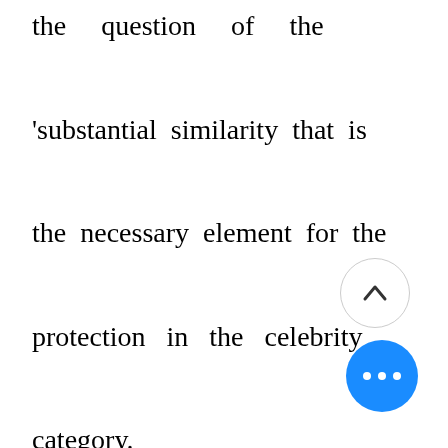the question of the 'substantial similarity that is the necessary element for the protection in the celebrity category. The stage of the celebrity right has been gaining concerned attention and clarity with time. The huge